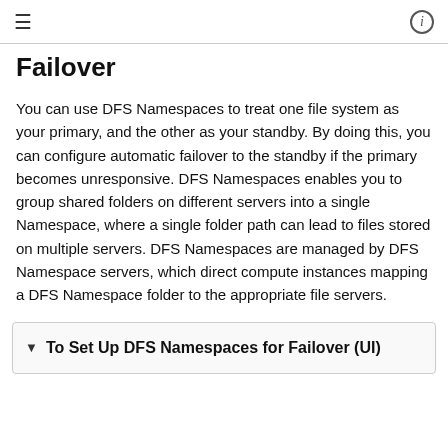≡  ⓘ
Failover
You can use DFS Namespaces to treat one file system as your primary, and the other as your standby. By doing this, you can configure automatic failover to the standby if the primary becomes unresponsive. DFS Namespaces enables you to group shared folders on different servers into a single Namespace, where a single folder path can lead to files stored on multiple servers. DFS Namespaces are managed by DFS Namespace servers, which direct compute instances mapping a DFS Namespace folder to the appropriate file servers.
To Set Up DFS Namespaces for Failover (UI)